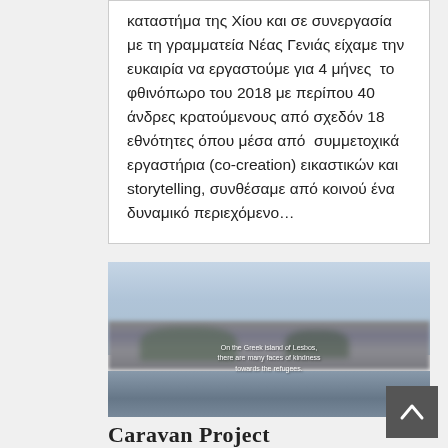καταστήμα της Χίου και σε συνεργασία με τη γραμματεία Νέας Γενιάς είχαμε την ευκαιρία να εργαστούμε για 4 μήνες  το φθινόπωρο του 2018 με περίπου 40 άνδρες κρατούμενους από σχεδόν 18 εθνότητες όπου μέσα από  συμμετοχικά εργαστήρια (co-creation) εικαστικών και storytelling, συνθέσαμε από κοινού ένα  δυναμικό περιεχόμενο…
[Figure (photo): Blurry photo of a Greek island waterfront (Lesbos) with buildings, trees and water reflection. Overlay text reads: 'On the Greek island of Lesbos, there are many faces of kindness towards the refugees.']
Caravan Project